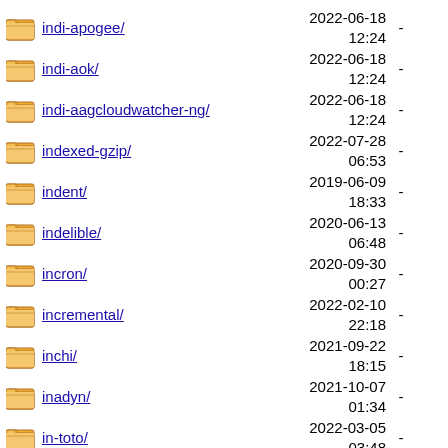indi-apogee/ 2022-06-18 12:24 -
indi-aok/ 2022-06-18 12:24 -
indi-aagcloudwatcher-ng/ 2022-06-18 12:24 -
indexed-gzip/ 2022-07-28 06:53 -
indent/ 2019-06-09 18:33 -
indelible/ 2020-06-13 06:48 -
incron/ 2020-09-30 00:27 -
incremental/ 2022-02-10 22:18 -
inchi/ 2021-09-22 18:15 -
inadyn/ 2021-10-07 01:34 -
in-toto/ 2022-03-05 03:48 -